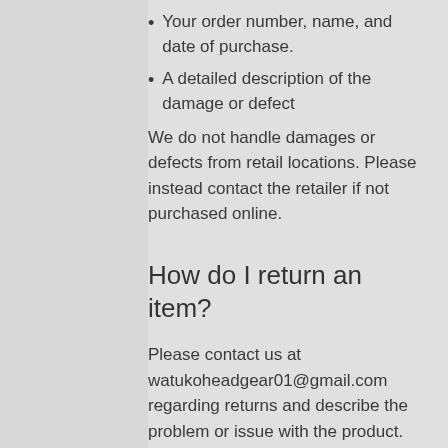Your order number, name, and date of purchase.
A detailed description of the damage or defect
We do not handle damages or defects from retail locations. Please instead contact the retailer if not purchased online.
How do I return an item?
Please contact us at watukoheadgear01@gmail.com regarding returns and describe the problem or issue with the product. After we have responded to you with a return